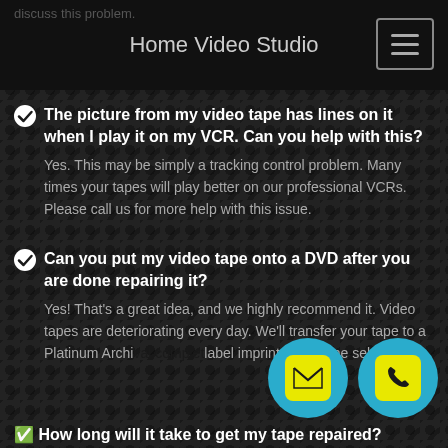Home Video Studio
The picture from my video tape has lines on it when I play it on my VCR. Can you help with this? Yes. This may be simply a tracking control problem. Many times your tapes will play better on our professional VCRs. Please call us for more help with this issue.
Can you put my video tape onto a DVD after you are done repairing it? Yes! That's a great idea, and we highly recommend it. Video tapes are deteriorating every day. We'll transfer your tape to a Platinum Archival complet label imprint and scene selection
[Figure (infographic): Two circular teal floating action buttons: one with a yellow email envelope icon, one with a yellow phone receiver icon]
How long will it take to get my tape repaired?